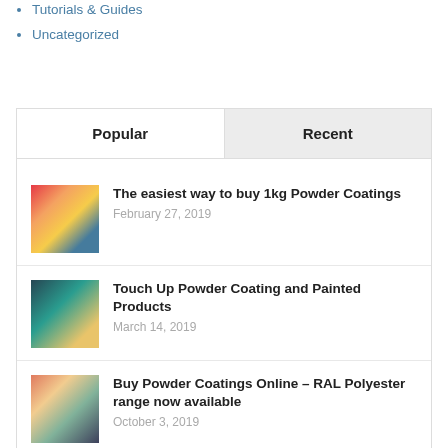Tutorials & Guides
Uncategorized
Popular | Recent (tab header)
[Figure (photo): Colorful powder coating pigments in pink, yellow, orange and blue]
The easiest way to buy 1kg Powder Coatings
February 27, 2019
[Figure (photo): Blue powder coating gun nozzle close-up]
Touch Up Powder Coating and Painted Products
March 14, 2019
[Figure (photo): Colorful powder coated samples in pink, red and blue]
Buy Powder Coatings Online – RAL Polyester range now available
October 3, 2019